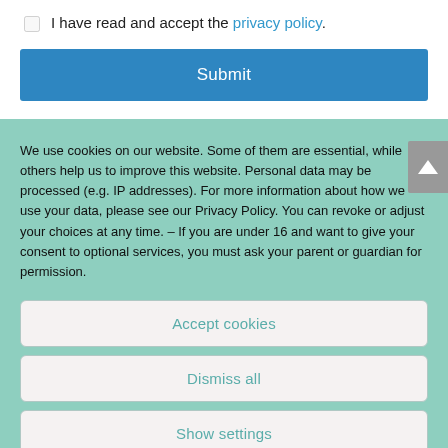I have read and accept the privacy policy.
Submit
We use cookies on our website. Some of them are essential, while others help us to improve this website. Personal data may be processed (e.g. IP addresses). For more information about how we use your data, please see our Privacy Policy. You can revoke or adjust your choices at any time. - If you are under 16 and want to give your consent to optional services, you must ask your parent or guardian for permission.
Accept cookies
Dismiss all
Show settings